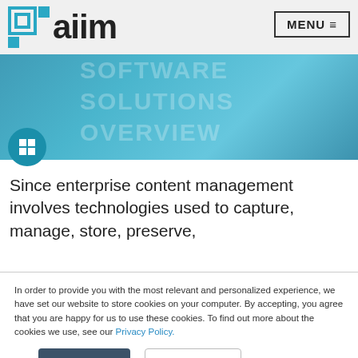[Figure (logo): AIIM logo with teal square icon and bold 'aiim' text]
[Figure (photo): Teal-tinted hero banner image with overlaid watermark text 'SOFTWARE SOLUTIONS OVERVIEW' and a grid/apps icon button]
Since enterprise content management involves technologies used to capture, manage, store, preserve,
In order to provide you with the most relevant and personalized experience, we have set our website to store cookies on your computer. By accepting, you agree that you are happy for us to use these cookies. To find out more about the cookies we use, see our Privacy Policy.